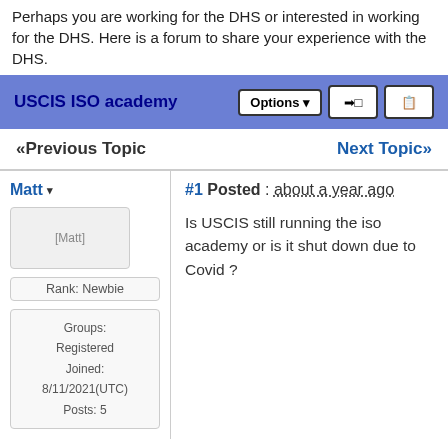Perhaps you are working for the DHS or interested in working for the DHS. Here is a forum to share your experience with the DHS.
USCIS ISO academy
«Previous Topic    Next Topic»
#1 Posted : about a year ago
Matt
[Figure (photo): User avatar placeholder image for Matt]
Rank: Newbie
Groups: Registered
Joined: 8/11/2021(UTC)
Posts: 5
Is USCIS still running the iso academy or is it shut down due to Covid ?